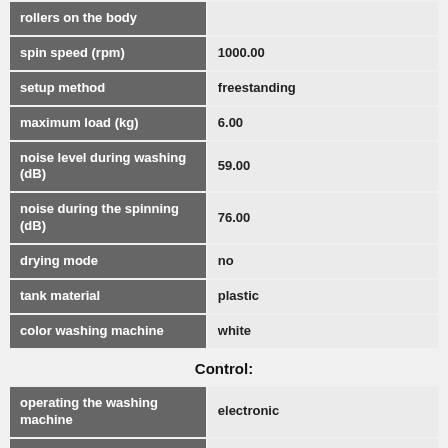| property | value |
| --- | --- |
| rollers on the body |  |
| spin speed (rpm) | 1000.00 |
| setup method | freestanding |
| maximum load (kg) | 6.00 |
| noise level during washing (dB) | 59.00 |
| noise during the spinning (dB) | 76.00 |
| drying mode | no |
| tank material | plastic |
| color washing machine | white |
Control:
| property | value |
| --- | --- |
| operating the washing machine | electronic |
| timer | no |
| display | no |
| number of programs | 13 |
| special washing programs | prewash, super-rinse, express laundry, wash delicate fabrics |
| washable wool | yes |
| control the level of foam | yes |